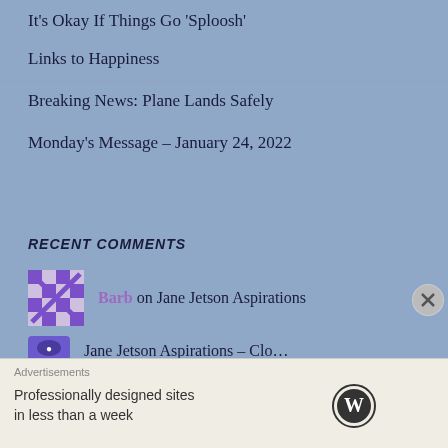It's Okay If Things Go 'Sploosh'
Links to Happiness
Breaking News: Plane Lands Safely
Monday's Message – January 24, 2022
RECENT COMMENTS
Barb on Jane Jetson Aspirations
Jane Jetson Aspirations – Clo…
Advertisements
Professionally designed sites in less than a week